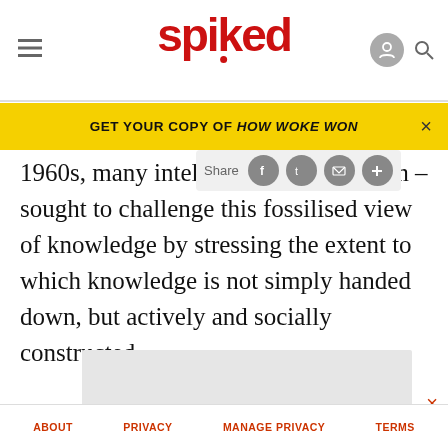spiked
GET YOUR COPY OF HOW WOKE WON
1960s, many intellectuals – Mich them – sought to challenge this fossilised view of knowledge by stressing the extent to which knowledge is not simply handed down, but actively and socially constructed.
[Figure (other): Share button bar with social media icons (Facebook, Twitter, Email, Plus)]
[Figure (other): Advertisement placeholder — light grey rectangle]
And these intellectuals were right – to a point. Berger
ABOUT   PRIVACY   MANAGE PRIVACY   TERMS